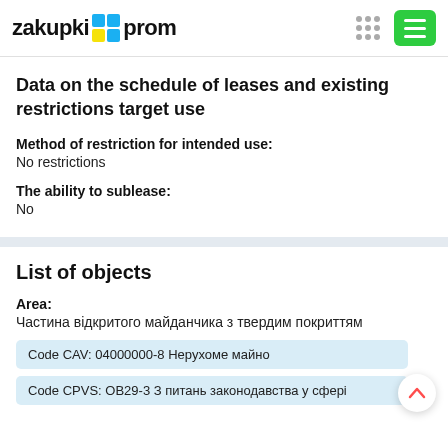zakupki prom
Data on the schedule of leases and existing restrictions target use
Method of restriction for intended use:
No restrictions
The ability to sublease:
No
List of objects
Area:
Частина відкритого майданчика з твердим покриттям
Code CAV: 04000000-8 Нерухоме майно
Code CPVS: OB29-3 З питань законодавства у сфері